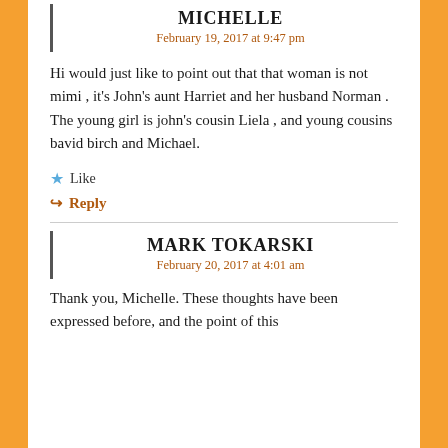MICHELLE
February 19, 2017 at 9:47 pm
Hi would just like to point out that that woman is not mimi , it's John's aunt Harriet and her husband Norman . The young girl is john's cousin Liela , and young cousins bavid birch and Michael.
Like
Reply
MARK TOKARSKI
February 20, 2017 at 4:01 am
Thank you, Michelle. These thoughts have been expressed before, and the point of this